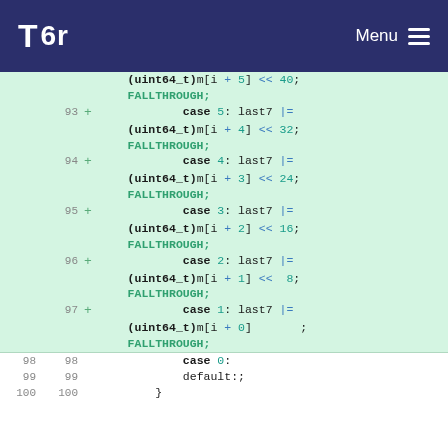Tor | Menu
[Figure (screenshot): Code diff showing C source lines 93-100 with added lines (green background) for case 5 through case 1 fallthrough logic, and unchanged lines for case 0, default, and closing brace.]